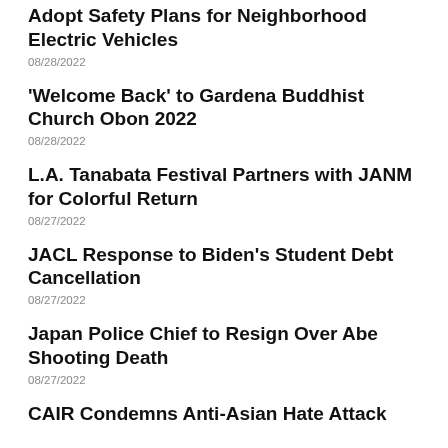Adopt Safety Plans for Neighborhood Electric Vehicles
08/28/2022
'Welcome Back' to Gardena Buddhist Church Obon 2022
08/28/2022
L.A. Tanabata Festival Partners with JANM for Colorful Return
08/27/2022
JACL Response to Biden's Student Debt Cancellation
08/27/2022
Japan Police Chief to Resign Over Abe Shooting Death
08/27/2022
CAIR Condemns Anti-Asian Hate Attack